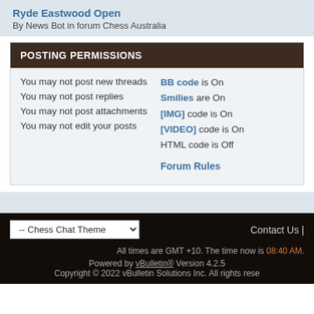Ryde Eastwood Open
By News Bot in forum Chess Australia
POSTING PERMISSIONS
You may not post new threads
You may not post replies
You may not post attachments
You may not edit your posts
BB code is On
Smilies are On
[IMG] code is On
[VIDEO] code is On
HTML code is Off
Forum Rules
-- Chess Chat Theme
Contact Us |
All times are GMT +10. The time now is 08:40 AM.
Powered by vBulletin® Version 4.2.5
Copyright © 2022 vBulletin Solutions Inc. All rights rese